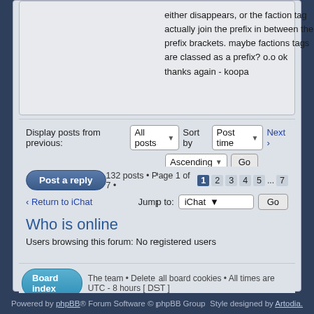either disappears, or the faction tag actually join the prefix in between the prefix brackets. maybe factions tags are classed as a prefix? o.o ok thanks again - koopa
Display posts from previous: All posts ▾  Sort by Post time ▾  Next › Ascending ▾ Go
Post a reply   132 posts • Page 1 of 7 •  1  2  3  4  5  ...  7
‹ Return to iChat    Jump to:  iChat ▾  Go
Who is online
Users browsing this forum: No registered users
Board index  The team • Delete all board cookies • All times are UTC - 8 hours [ DST ]
Powered by phpBB® Forum Software © phpBB Group    Style designed by Artodia.